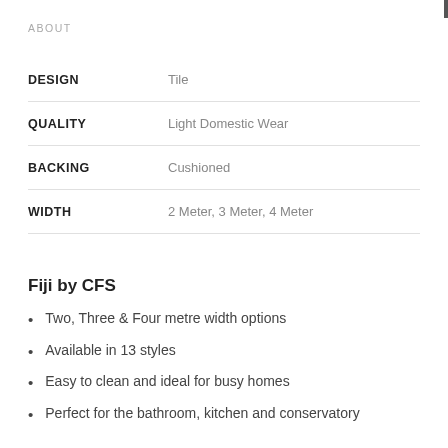ABOUT
| Attribute | Value |
| --- | --- |
| DESIGN | Tile |
| QUALITY | Light Domestic Wear |
| BACKING | Cushioned |
| WIDTH | 2 Meter, 3 Meter, 4 Meter |
Fiji by CFS
Two, Three & Four metre width options
Available in 13 styles
Easy to clean and ideal for busy homes
Perfect for the bathroom, kitchen and conservatory